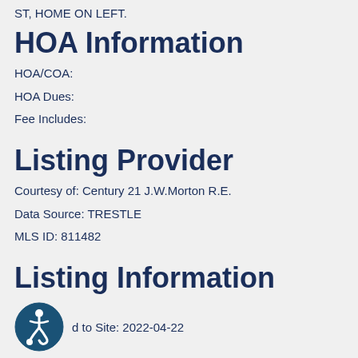ST, HOME ON LEFT.
HOA Information
HOA/COA:
HOA Dues:
Fee Includes:
Listing Provider
Courtesy of: Century 21 J.W.Morton R.E.
Data Source: TRESTLE
MLS ID: 811482
Listing Information
Added to Site: 2022-04-22